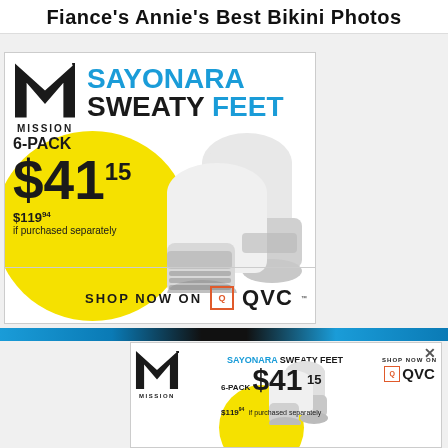Fiance's Annie's Best Bikini Photos
[Figure (illustration): Large Mission brand advertisement for socks. Shows Mission M logo, text 'SAYONARA SWEATY FEET', '6-PACK $41.15', '$119.94 if purchased separately', white athletic socks, yellow blob background, 'SHOP NOW ON QVC' with QVC logo.]
[Figure (illustration): Small Mission brand banner advertisement. Shows Mission M logo, 'SAYONARA SWEATY FEET', '6-PACK $41.15', '$119.94 if purchased separately', white socks image, 'SHOP NOW ON QVC' logo. Has X close button.]